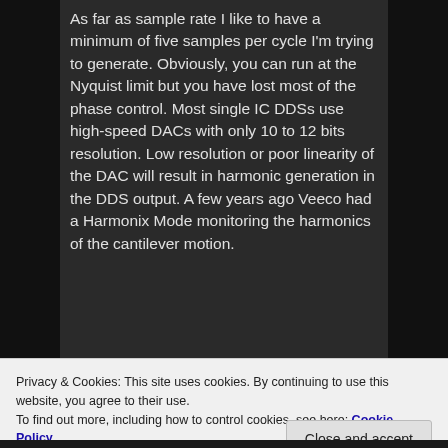As far as sample rate I like to have a minimum of five samples per cycle I'm trying to generate. Obviously, you can run at the Nyquist limit but you have lost most of the phase control. Most single IC DDSs use high-speed DACs with only 10 to 12 bits resolution. Low resolution or poor linearity of the DAC will result in harmonic generation in the DDS output. A few years ago Veeco had a Harmonix Mode monitoring the harmonics of the cantilever motion.
Privacy & Cookies: This site uses cookies. By continuing to use this website, you agree to their use.
To find out more, including how to control cookies, see here: Cookie Policy